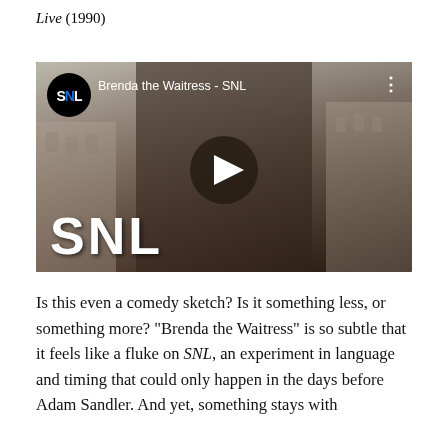Live (1990)
[Figure (screenshot): YouTube video thumbnail for 'Brenda the Waitress - SNL' showing a man in a cowboy hat and denim jacket with an SNL logo overlay and play button]
Is this even a comedy sketch? Is it something less, or something more? “Brenda the Waitress” is so subtle that it feels like a fluke on SNL, an experiment in language and timing that could only happen in the days before Adam Sandler. And yet, something stays with